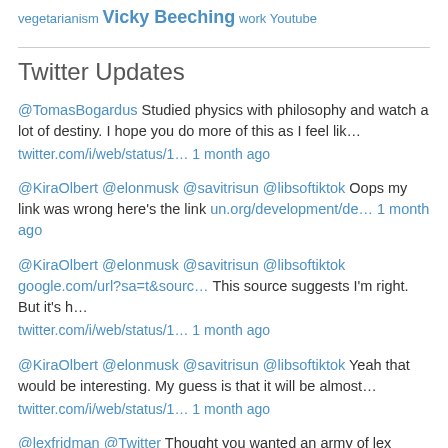vegetarianism Vicky Beeching work Youtube
Twitter Updates
@TomasBogardus Studied physics with philosophy and watch a lot of destiny. I hope you do more of this as I feel lik… twitter.com/i/web/status/1… 1 month ago
@KiraOlbert @elonmusk @savitrisun @libsoftiktok Oops my link was wrong here's the link un.org/development/de… 1 month ago
@KiraOlbert @elonmusk @savitrisun @libsoftiktok google.com/url?sa=t&sourc… This source suggests I'm right. But it's h… twitter.com/i/web/status/1… 1 month ago
@KiraOlbert @elonmusk @savitrisun @libsoftiktok Yeah that would be interesting. My guess is that it will be almost… twitter.com/i/web/status/1… 1 month ago
@lexfridman @Twitter Thought you wanted an army of lex clones! Now you have them (currently listening to your Zucke…